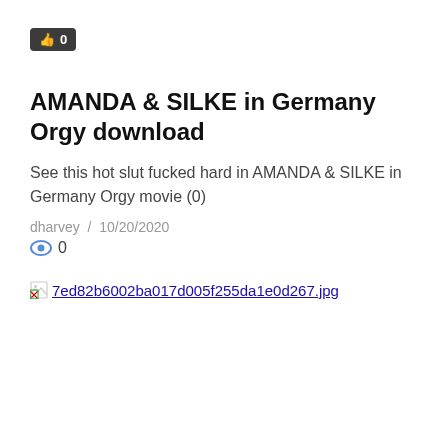[Figure (other): Like/thumbs-up button with count 0]
AMANDA & SILKE in Germany Orgy download
See this hot slut fucked hard in AMANDA & SILKE in Germany Orgy movie (0)
dharvey  /  10/20/2020
0
[Figure (other): Broken image placeholder with filename 7ed82b6002ba017d005f255da1e0d267.jpg]